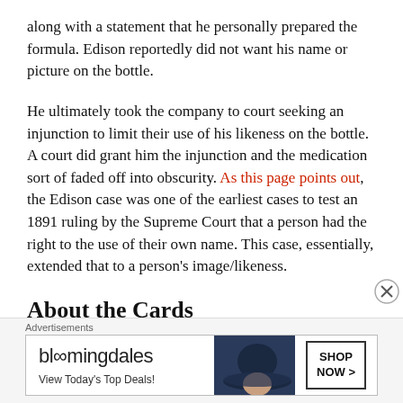along with a statement that he personally prepared the formula. Edison reportedly did not want his name or picture on the bottle.
He ultimately took the company to court seeking an injunction to limit their use of his likeness on the bottle. A court did grant him the injunction and the medication sort of faded off into obscurity. As this page points out, the Edison case was one of the earliest cases to test an 1891 ruling by the Supreme Court that a person had the right to the use of their own name. This case, essentially, extended that to a person's image/likeness.
About the Cards
[Figure (other): Bloomingdale's advertisement banner with hat image and 'SHOP NOW >' button. Text reads: 'Advertisements', 'bloomingdales', 'View Today's Top Deals!']